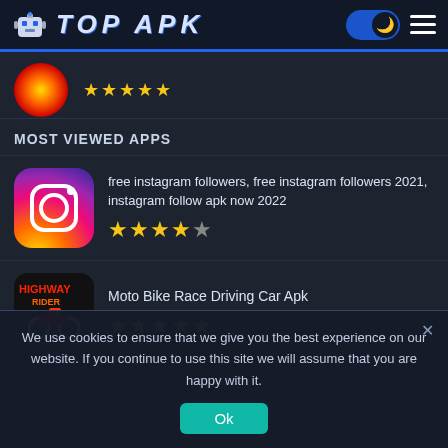TOP APK
[Figure (screenshot): Partial app icon (orange/yellow circle) with 5-star rating partially visible at top]
MOST VIEWED APPS
[Figure (screenshot): Instagram app icon - purple/pink gradient with camera icon]
free instagram followers, free instagram followers 2021, instagram follow apk now 2022
[Figure (screenshot): Highway Rider game icon - motorcycle racing game]
Moto Bike Race Driving Car Apk
We use cookies to ensure that we give you the best experience on our website. If you continue to use this site we will assume that you are happy with it.